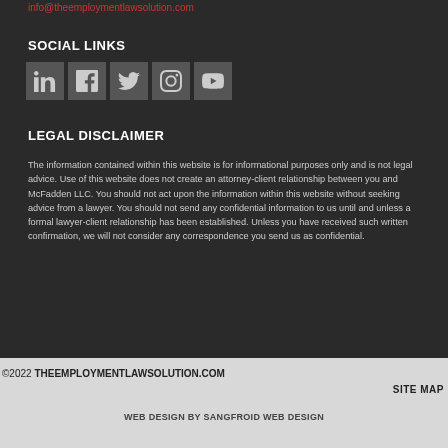info@theemploymentlawsolution.com
SOCIAL LINKS
[Figure (other): Social media icons row: LinkedIn, Facebook, Twitter, Instagram, YouTube]
LEGAL DISCLAIMER
The information contained within this website is for informational purposes only and is not legal advice. Use of this website does not create an attorney-client relationship between you and McFadden LLC. You should not act upon the information within this website without seeking advice from a lawyer. You should not send any confidential information to us until and unless a formal lawyer-client relationship has been established. Unless you have received such written confirmation, we will not consider any correspondence you send us as confidential.
©2022 THEEMPLOYMENTLAWSOLUTION.COM
SITE MAP
WEB DESIGN BY SANGFROID WEB DESIGN